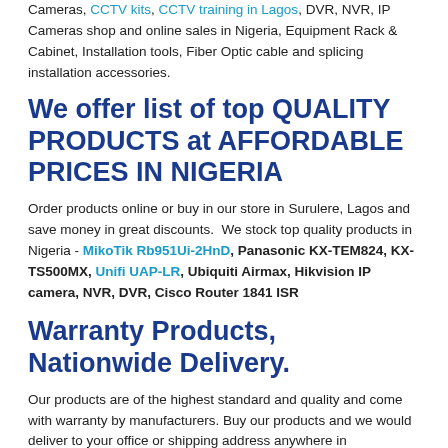Cameras, CCTV kits, CCTV training in Lagos, DVR, NVR, IP Cameras shop and online sales in Nigeria, Equipment Rack & Cabinet, Installation tools, Fiber Optic cable and splicing installation accessories.
We offer list of top QUALITY PRODUCTS at AFFORDABLE PRICES IN NIGERIA
Order products online or buy in our store in Surulere, Lagos and save money in great discounts. We stock top quality products in Nigeria - MikoTik Rb951Ui-2HnD, Panasonic KX-TEM824, KX-TS500MX, Unifi UAP-LR, Ubiquiti Airmax, Hikvision IP camera, NVR, DVR, Cisco Router 1841 ISR
Warranty Products, Nationwide Delivery.
Our products are of the highest standard and quality and come with warranty by manufacturers. Buy our products and we would deliver to your office or shipping address anywhere in